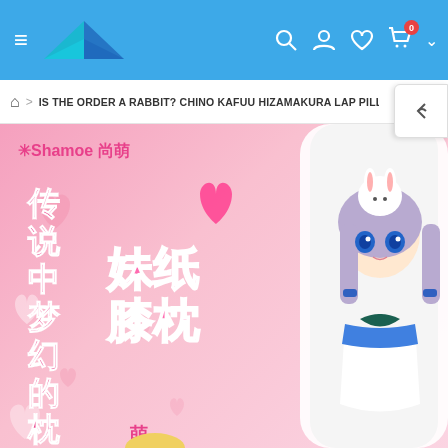Navigation header with hamburger menu, logo, search, user, wishlist, cart icons
IS THE ORDER A RABBIT? CHINO KAFUU HIZAMAKURA LAP PILLO...
[Figure (photo): Product image of a Shamoe (尚萌) branded lap pillow (抱枕) featuring Chino Kafuu from 'Is the Order a Rabbit?'. Pink background with hearts, anime girl with blue hair and bunny on head, wearing blue and white maid dress. Chinese text: 传说中梦幻的枕头 妹纸膝枕. Shamoe 尚萌 brand logo top left.]